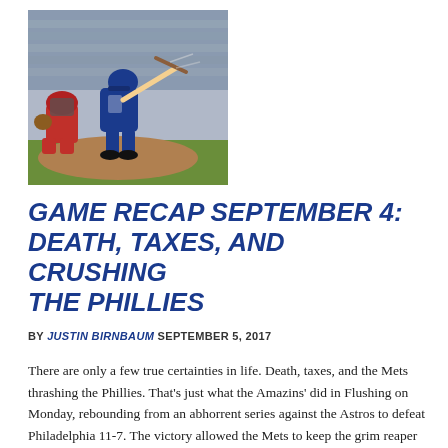[Figure (photo): Baseball batter in blue Mets uniform swinging, with catcher in red gear crouching behind, on a baseball field.]
GAME RECAP SEPTEMBER 4: DEATH, TAXES, AND CRUSHING THE PHILLIES
BY JUSTIN BIRNBAUM SEPTEMBER 5, 2017
There are only a few true certainties in life. Death, taxes, and the Mets thrashing the Phillies. That's just what the Amazins' did in Flushing on Monday, rebounding from an abhorrent series against the Astros to defeat Philadelphia 11-7. The victory allowed the Mets to keep the grim reaper at the gate and stave off [...]